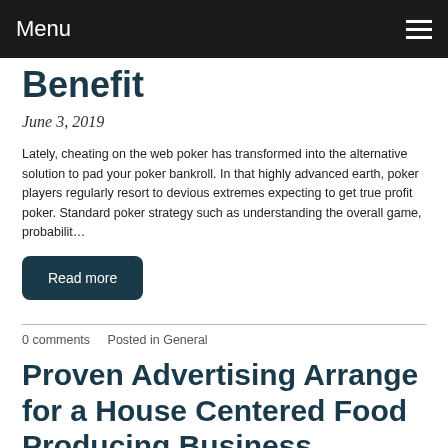Menu
Benefit
June 3, 2019
Lately, cheating on the web poker has transformed into the alternative solution to pad your poker bankroll. In that highly advanced earth, poker players regularly resort to devious extremes expecting to get true profit poker. Standard poker strategy such as understanding the overall game, probabilit…
Read more
0 comments   Posted in General
Proven Advertising Arrange for a House Centered Food Producing Business